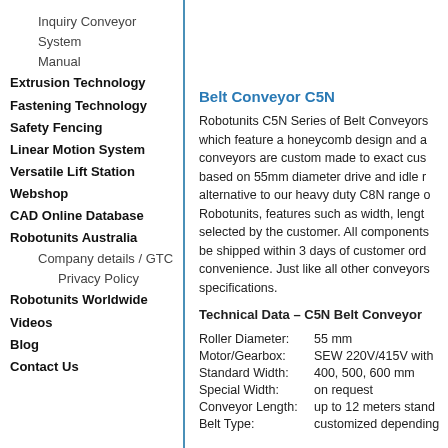Inquiry Conveyor System Manual
Extrusion Technology
Fastening Technology
Safety Fencing
Linear Motion System
Versatile Lift Station
Webshop
CAD Online Database
Robotunits Australia
Company details / GTC
Privacy Policy
Robotunits Worldwide
Videos
Blog
Contact Us
Belt Conveyor C5N
Robotunits C5N Series of Belt Conveyors which feature a honeycomb design and a conveyors are custom made to exact cus based on 55mm diameter drive and idle r alternative to our heavy duty C8N range o Robotunits, features such as width, lengt selected by the customer. All components be shipped within 3 days of customer ord convenience. Just like all other conveyors specifications.
Technical Data – C5N Belt Conveyor
| Property | Value |
| --- | --- |
| Roller Diameter: | 55 mm |
| Motor/Gearbox: | SEW 220V/415V with |
| Standard Width: | 400, 500, 600 mm |
| Special Width: | on request |
| Conveyor Length: | up to 12 meters stand |
| Belt Type: | customized depending |